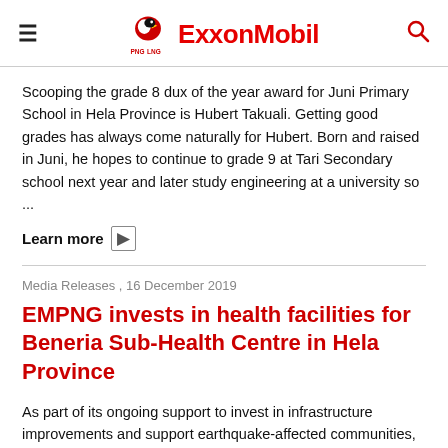PNG LNG | ExxonMobil
Scooping the grade 8 dux of the year award for Juni Primary School in Hela Province is Hubert Takuali. Getting good grades has always come naturally for Hubert. Born and raised in Juni, he hopes to continue to grade 9 at Tari Secondary school next year and later study engineering at a university so ...
Learn more []
Media Releases , 16 December 2019
EMPNG invests in health facilities for Beneria Sub-Health Centre in Hela Province
As part of its ongoing support to invest in infrastructure improvements and support earthquake-affected communities, operator of the PNG LNG Project, ExxonMobil PNG Limited (EMPNG), handed over several clinic facilities. Damaged by the 2018 earthquake, the Beneria sub-health centre was unable